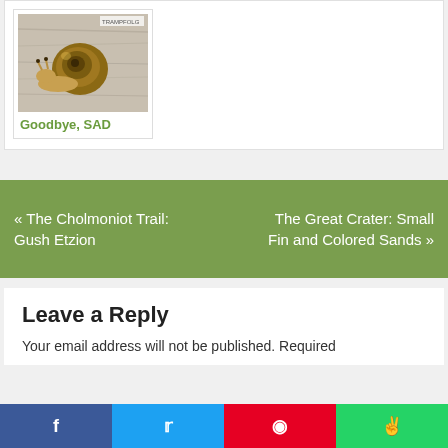[Figure (photo): Close-up photo of a snail on a wooden surface, with a small watermark label in the top right corner of the image]
Goodbye, SAD
« The Cholmoniot Trail: Gush Etzion
The Great Crater: Small Fin and Colored Sands »
Leave a Reply
Your email address will not be published. Required